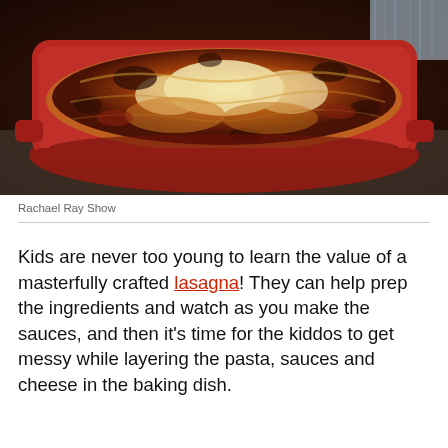[Figure (photo): A baked lasagna in a red rectangular baking dish, with golden-brown and slightly charred cheese topping, on a wooden surface with a striped cloth visible in the background.]
Rachael Ray Show
Kids are never too young to learn the value of a masterfully crafted lasagna! They can help prep the ingredients and watch as you make the sauces, and then it's time for the kiddos to get messy while layering the pasta, sauces and cheese in the baking dish.